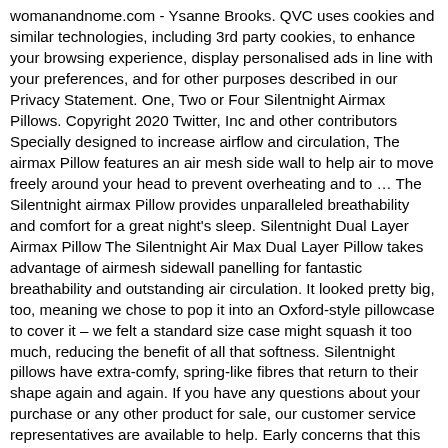womanandnome.com - Ysanne Brooks. QVC uses cookies and similar technologies, including 3rd party cookies, to enhance your browsing experience, display personalised ads in line with your preferences, and for other purposes described in our Privacy Statement. One, Two or Four Silentnight Airmax Pillows. Copyright 2020 Twitter, Inc and other contributors Specially designed to increase airflow and circulation, The airmax Pillow features an air mesh side wall to help air to move freely around your head to prevent overheating and to … The Silentnight airmax Pillow provides unparalleled breathability and comfort for a great night's sleep. Silentnight Dual Layer Airmax Pillow The Silentnight Air Max Dual Layer Pillow takes advantage of airmesh sidewall panelling for fantastic breathability and outstanding air circulation. It looked pretty big, too, meaning we chose to pop it into an Oxford-style pillowcase to cover it – we felt a standard size case might squash it too much, reducing the benefit of all that softness. Silentnight pillows have extra-comfy, spring-like fibres that return to their shape again and again. If you have any questions about your purchase or any other product for sale, our customer service representatives are available to help. Early concerns that this one might not have the right amount of support for our dedicated side sleeper were happily dispelled quite quickly. This well-known Company from the UK follows and sets the latest trends in bed making and mattress design since the late forties. Buy Silentnight Airmax Perfect Pillow, White, 74 x 48cm: Bed Pillows - Amazon.com FREE DELIVERY possible on eligible purchases Machine washable at 40°C. Bedding that minimises overheating – by helping to wick away sweat in the night without leaving the body clammy – will definitely be beneficial. This